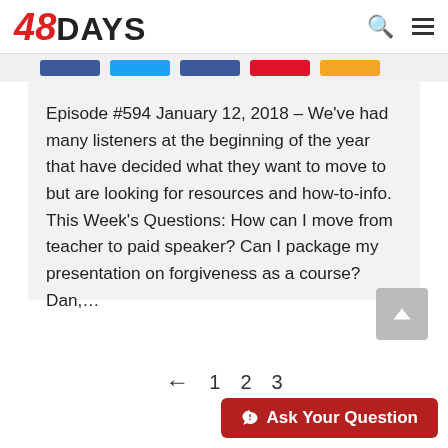48DAYS
Episode #594 January 12, 2018 – We've had many listeners at the beginning of the year that have decided what they want to move to but are looking for resources and how-to-info. This Week's Questions: How can I move from teacher to paid speaker? Can I package my presentation on forgiveness as a course? Dan,...